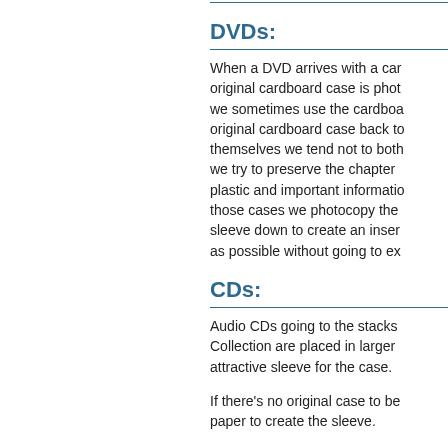DVDs:
When a DVD arrives with a cardboard case the original cardboard case is photocopy... we sometimes use the cardboard... original cardboard case back to themselves we tend not to both... we try to preserve the chapter ... plastic and important information... those cases we photocopy the... sleeve down to create an insert... as possible without going to ex...
CDs:
Audio CDs going to the stacks... Collection are placed in larger... attractive sleeve for the case.
If there's no original case to be... paper to create the sleeve.
"Preservation" copies o...